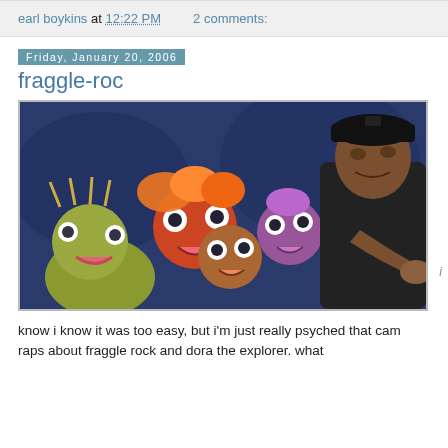earl boykins at 12:22 PM   2 comments:
Friday, January 20, 2006
fraggle-roc
[Figure (photo): Photo of Fraggle Rock puppet characters alongside a man in a black cap pointing toward the camera, set against a blue background.]
know i know it was too easy, but i'm just really psyched that cam raps about fraggle rock and dora the explorer. what